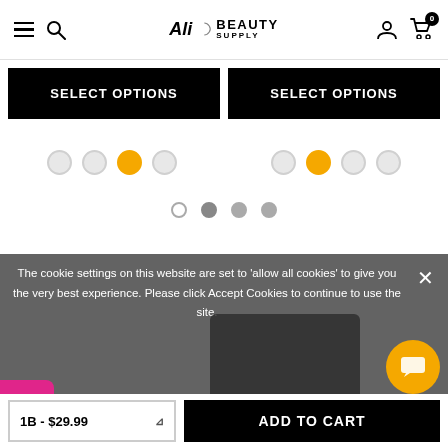Ali Beauty Supply — navigation header with hamburger menu, search, logo, account, and cart (0 items)
[Figure (screenshot): Two SELECT OPTIONS buttons side by side]
[Figure (screenshot): Color swatch dots — left group: 4 circles, 3rd active (orange); right group: 4 circles, 2nd active (orange)]
[Figure (screenshot): Page navigation dots: 1 empty circle, 3 filled gray dots]
The cookie settings on this website are set to 'allow all cookies' to give you the very best experience. Please click Accept Cookies to continue to use the site.
[Figure (screenshot): ACCEPT COOKIES button and PRIVACY POLICY link]
[Figure (screenshot): Color dropdown selector showing '1B - $29.99' and ADD TO CART button]